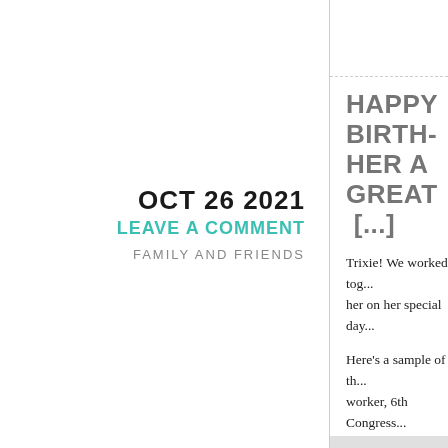OCT 26 2021
LEAVE A COMMENT
FAMILY AND FRIENDS
HAPPY BIRTHDAY HER A GREAT [...]
Trixie! We worked tog... her on her special day...
Here's a sample of th... worker, 6th Congress... Committee members... Director for American...
… mom to Amy and M... whose French name [...] endeavors, travels, a...
Thanks for ALL the me...